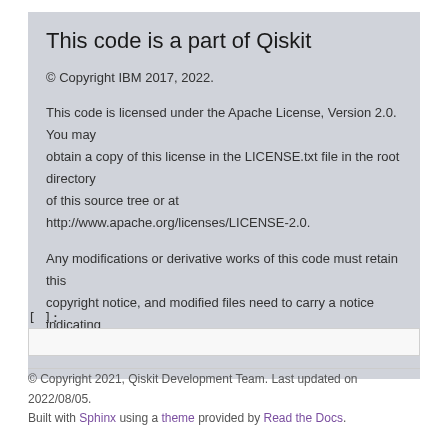This code is a part of Qiskit
© Copyright IBM 2017, 2022.
This code is licensed under the Apache License, Version 2.0. You may
obtain a copy of this license in the LICENSE.txt file in the root directory
of this source tree or at http://www.apache.org/licenses/LICENSE-2.0.
Any modifications or derivative works of this code must retain this copyright notice, and modified files need to carry a notice indicating that they have been altered from the originals.
[ ]:
© Copyright 2021, Qiskit Development Team. Last updated on 2022/08/05. Built with Sphinx using a theme provided by Read the Docs.